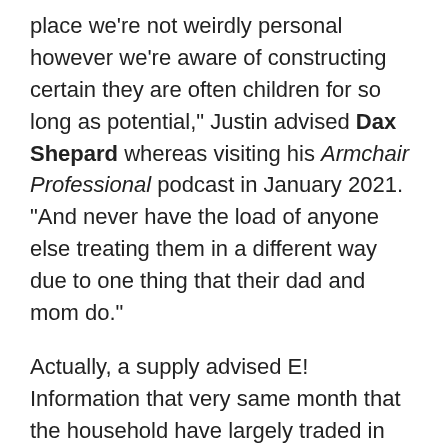place we're not weirdly personal however we're aware of constructing certain they are often children for so long as potential," Justin advised Dax Shepard whereas visiting his Armchair Professional podcast in January 2021. "And never have the load of anyone else treating them in a different way due to one thing that their dad and mom do."
Actually, a supply advised E! Information that very same month that the household have largely traded in massive metropolis residing for an out of doors way of life in Montana.
The supply added, "They plan to be in L.A. and New York for work commitments once they have to be, however for now, they're benefiting from being out of town and attending to have a very totally different expertise."